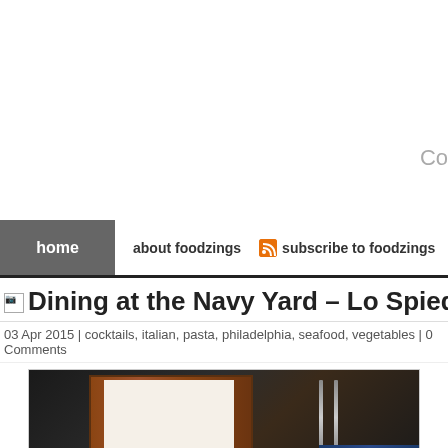Co
home | about foodzings | subscribe to foodzings | twitt
Dining at the Navy Yard – Lo Spiedo
03 Apr 2015 | cocktails, italian, pasta, philadelphia, seafood, vegetables | 0 Comments
[Figure (photo): Restaurant table setting with wooden menu board and cutlery on dark background]